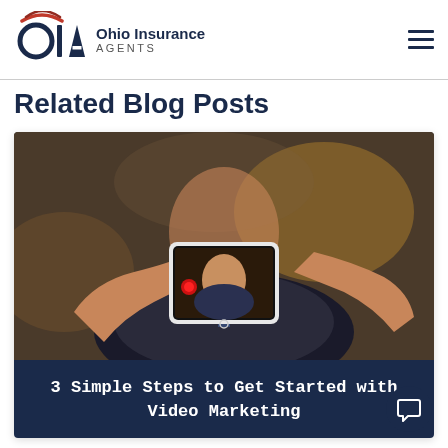[Figure (logo): Ohio Insurance Agents logo with OIA letters and red/navy arc graphic]
Related Blog Posts
[Figure (photo): Man holding a smartphone filming himself — video selfie / video marketing concept photo]
3 Simple Steps to Get Started with Video Marketing